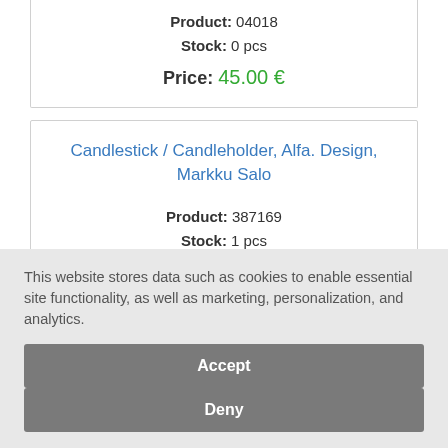Product: 04018 Stock: 0 pcs Price: 45.00 €
Candlestick / Candleholder, Alfa. Design, Markku Salo
Product: 387169 Stock: 1 pcs Price: 65.00 €
This website stores data such as cookies to enable essential site functionality, as well as marketing, personalization, and analytics.
Accept
Deny